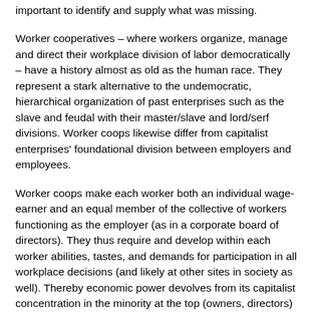important to identify and supply what was missing.
Worker cooperatives – where workers organize, manage and direct their workplace division of labor democratically – have a history almost as old as the human race. They represent a stark alternative to the undemocratic, hierarchical organization of past enterprises such as the slave and feudal with their master/slave and lord/serf divisions. Worker coops likewise differ from capitalist enterprises' foundational division between employers and employees.
Worker coops make each worker both an individual wage-earner and an equal member of the collective of workers functioning as the employer (as in a corporate board of directors). They thus require and develop within each worker abilities, tastes, and demands for participation in all workplace decisions (and likely at other sites in society as well). Thereby economic power devolves from its capitalist concentration in the minority at the top (owners, directors) of enterprises downward to the democratic collective of all workers. Worker coops convert workplaces into genuine, democratic communities: something capitalist enterprises could only ever